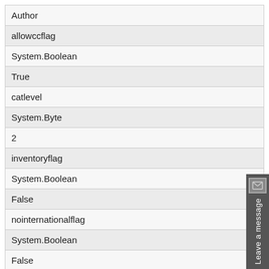| Author |
| allowccflag |
| System.Boolean |
| True |
| catlevel |
| System.Byte |
| 2 |
| inventoryflag |
| System.Boolean |
| False |
| nointernationalflag |
| System.Boolean |
| False |
| tellafriendflag |
| System.Boolean |